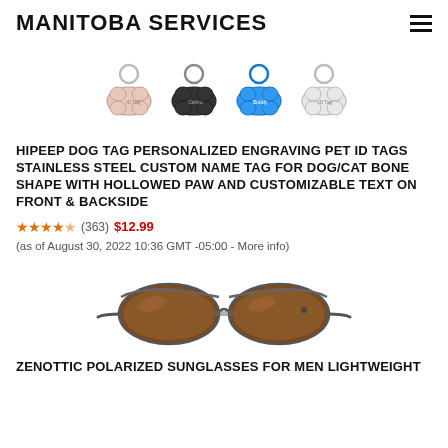MANITOBA SERVICES
[Figure (photo): Dog tag keychains in various shapes and colors including bone shapes in pink, black, blue, and silver with key rings attached]
HIPEEP DOG TAG PERSONALIZED ENGRAVING PET ID TAGS STAINLESS STEEL CUSTOM NAME TAG FOR DOG/CAT BONE SHAPE WITH HOLLOWED PAW AND CUSTOMIZABLE TEXT ON FRONT & BACKSIDE
(363) $12.99 (as of August 30, 2022 10:36 GMT -05:00 - More info)
[Figure (photo): Brown polarized sunglasses for men, lightweight frame with brown lenses, side view showing both lenses and frame]
ZENOTTIC POLARIZED SUNGLASSES FOR MEN LIGHTWEIGHT